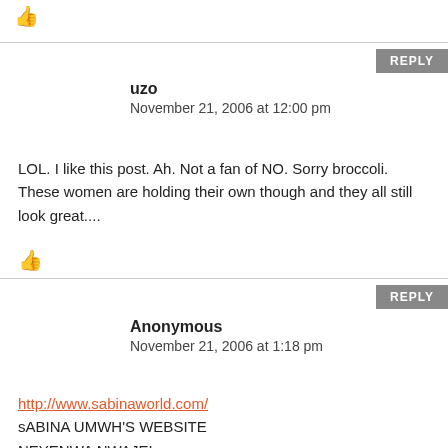[Figure (other): Orange thumbs-up icon]
REPLY
uzo
November 21, 2006 at 12:00 pm
LOL. I like this post. Ah. Not a fan of NO. Sorry broccoli. These women are holding their own though and they all still look great....
[Figure (other): Orange thumbs-up icon]
REPLY
Anonymous
November 21, 2006 at 1:18 pm
http://www.sabinaworld.com/
sABINA UMWH'S WEBSITE
NEYENWA NWAJEI